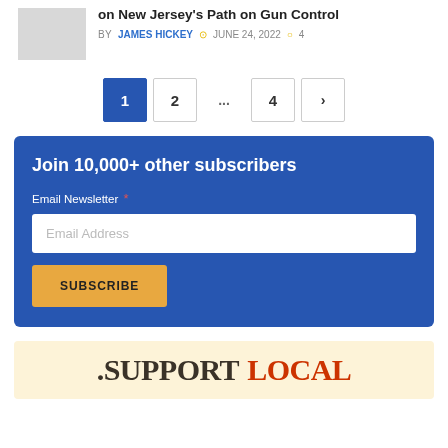on New Jersey's Path on Gun Control BY JAMES HICKEY JUNE 24, 2022 4
1 2 ... 4 >
Join 10,000+ other subscribers
Email Newsletter *
Email Address
SUBSCRIBE
[Figure (other): Support Local banner with dark and red text on cream background]